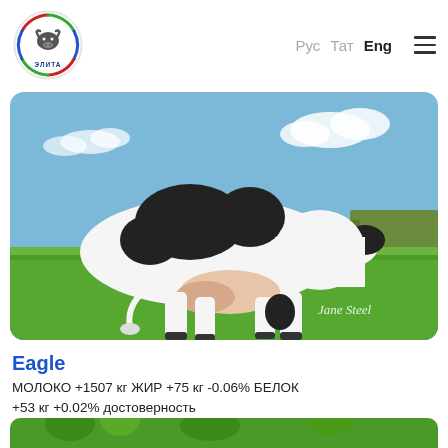[Figure (logo): Round logo with bull head and decorative border, text ЭЛИТА]
Рус  Тат  Eng  ☰
[Figure (photo): Black and white Holstein cow standing on green grass field with blue sky, watermark Jane Steel]
Eagle
МОЛОКО +1507 кг ЖИР +75 кг -0.06% БЕЛОК +53 кг +0.02% достоверность